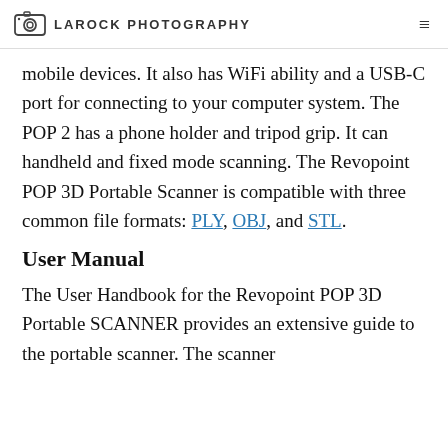LAROCK PHOTOGRAPHY
mobile devices. It also has WiFi ability and a USB-C port for connecting to your computer system. The POP 2 has a phone holder and tripod grip. It can handheld and fixed mode scanning. The Revopoint POP 3D Portable Scanner is compatible with three common file formats: PLY, OBJ, and STL.
User Manual
The User Handbook for the Revopoint POP 3D Portable SCANNER provides an extensive guide to the portable scanner. The scanner